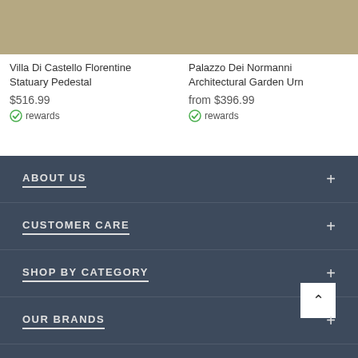[Figure (photo): Product image placeholder tan/khaki color for Villa Di Castello Florentine Statuary Pedestal]
Villa Di Castello Florentine Statuary Pedestal
$516.99
rewards
[Figure (photo): Product image placeholder tan/khaki color for Palazzo Dei Normanni Architectural Garden Urn]
Palazzo Dei Normanni Architectural Garden Urn
from $396.99
rewards
ABOUT US
CUSTOMER CARE
SHOP BY CATEGORY
OUR BRANDS